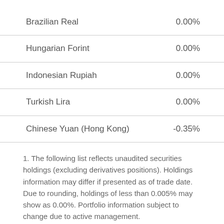| Currency | Value |
| --- | --- |
| Brazilian Real | 0.00% |
| Hungarian Forint | 0.00% |
| Indonesian Rupiah | 0.00% |
| Turkish Lira | 0.00% |
| Chinese Yuan (Hong Kong) | -0.35% |
1. The following list reflects unaudited securities holdings (excluding derivatives positions). Holdings information may differ if presented as of trade date. Due to rounding, holdings of less than 0.005% may show as 0.00%. Portfolio information subject to change due to active management.
2. Percent of total net assets.